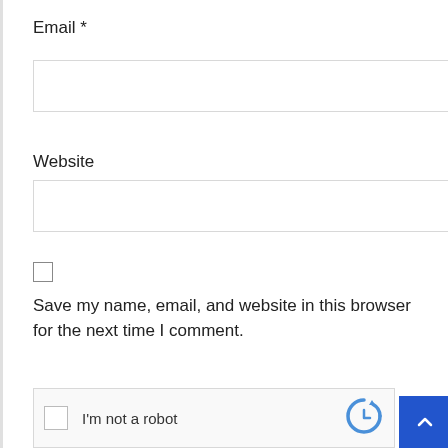Email *
[Figure (other): Empty email input text box]
Website
[Figure (other): Empty website input text box]
[Figure (other): Unchecked checkbox]
Save my name, email, and website in this browser for the next time I comment.
[Figure (other): reCAPTCHA widget with checkbox and 'I'm not a robot' text and reCAPTCHA logo]